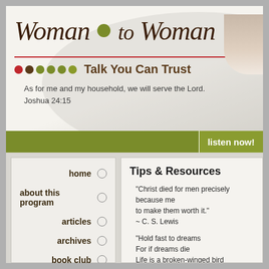[Figure (logo): Woman to Woman logo with stylized script text, olive green circular dot between 'Woman' and 'Woman', red underline, colored dots row, and tagline 'Talk You Can Trust']
As for me and my household, we will serve the Lord.
Joshua 24:15
listen now!
home
about this program
articles
archives
book club
Tips & Resources
"Christ died for men precisely because men are worth dying for, to make them worth it."
~ C. S. Lewis
"Hold fast to dreams
For if dreams die
Life is a broken-winged bird
That cannot fly